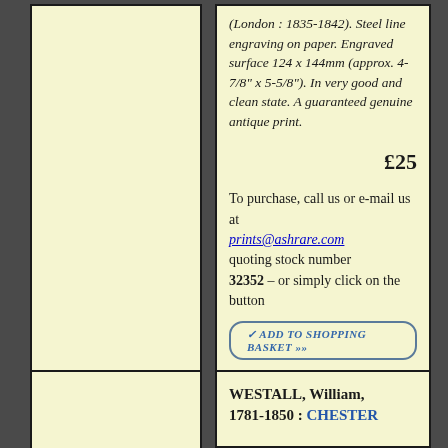(London : 1835-1842). Steel line engraving on paper. Engraved surface 124 x 144mm (approx. 4-7/8" x 5-5/8"). In very good and clean state. A guaranteed genuine antique print.
£25
To purchase, call us or e-mail us at prints@ashrare.com quoting stock number 32352 – or simply click on the button
✓ ADD TO SHOPPING BASKET »»
WESTALL, William, 1781-1850 : CHESTER